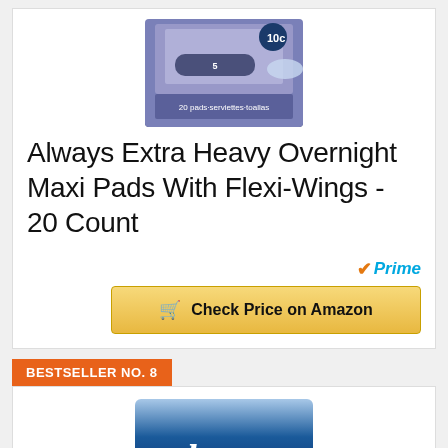[Figure (photo): Product image of Always Extra Heavy Overnight Maxi Pads package, purple/blue box with size 5 label, 20 count]
Always Extra Heavy Overnight Maxi Pads With Flexi-Wings - 20 Count
[Figure (logo): Amazon Prime badge with orange checkmark and blue Prime text]
Check Price on Amazon
BESTSELLER NO. 8
[Figure (photo): Product image of Always brand product, blue packaging with 'always' italic text in white]